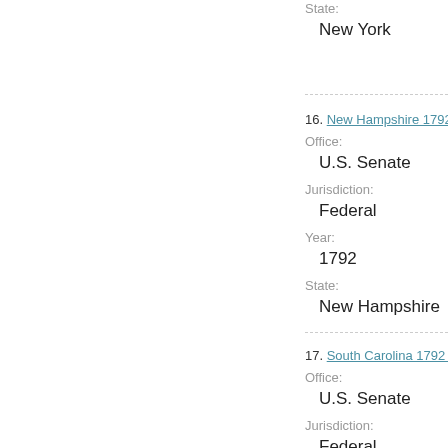State:
New York
16. New Hampshire 1792 U...
Office:
U.S. Senate
Jurisdiction:
Federal
Year:
1792
State:
New Hampshire
17. South Carolina 1792 U.S...
Office:
U.S. Senate
Jurisdiction:
Federal
Year:
1792